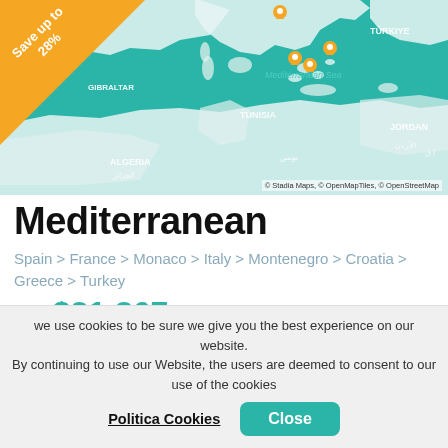[Figure (map): Mediterranean Sea region map in teal/green showing Spain, France, Tunisia, Gibraltar, Algeria, Jordan, Turkey with orange location pins and a Save up to 28% diagonal badge in the top-left corner.]
Mediterranean
Spain > France > Monaco > Italy > Montenegro > Croatia > Greece > Turkey
from $21,867
Tour Operator
Regent
Ship
Seven Seas Voyager
we use cookies to be sure we give you the best experience on our website. By continuing to use our Website, the users are deemed to consent to our use of the cookies